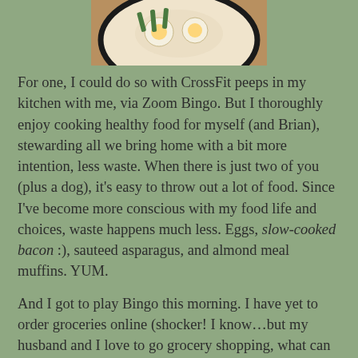[Figure (photo): Top portion of a food photo showing a plate with eggs, bacon, asparagus, and almond meal muffins on a dark-rimmed plate, partially cropped]
For one, I could do so with CrossFit peeps in my kitchen with me, via Zoom Bingo. But I thoroughly enjoy cooking healthy food for myself (and Brian), stewarding all we bring home with a bit more intention, less waste. When there is just two of you (plus a dog), it's easy to throw out a lot of food. Since I've become more conscious with my food life and choices, waste happens much less. Eggs, slow-cooked bacon :), sauteed asparagus, and almond meal muffins. YUM.
And I got to play Bingo this morning. I have yet to order groceries online (shocker! I know…but my husband and I love to go grocery shopping, what can we say?), have yet to binge-watch an entire series of anything. I have yet to take a bike ride, but now the idea is well planted for this next week.
[Figure (photo): Meme image with dark background showing text 'CALLING ALL' in bold white letters with black outline, and a finger/hand visible at the bottom]